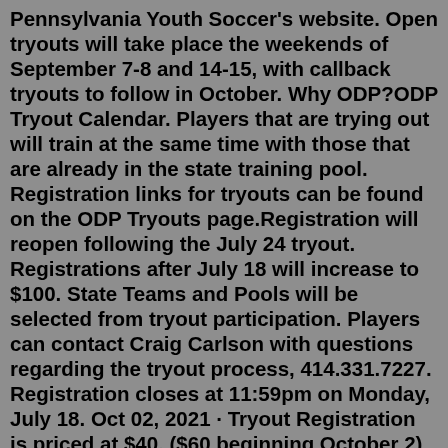Pennsylvania Youth Soccer's website. Open tryouts will take place the weekends of September 7-8 and 14-15, with callback tryouts to follow in October. Why ODP?ODP Tryout Calendar. Players that are trying out will train at the same time with those that are already in the state training pool. Registration links for tryouts can be found on the ODP Tryouts page.Registration will reopen following the July 24 tryout. Registrations after July 18 will increase to $100. State Teams and Pools will be selected from tryout participation. Players can contact Craig Carlson with questions regarding the tryout process, 414.331.7227. Registration closes at 11:59pm on Monday, July 18. Oct 02, 2021 · Tryout Registration is priced at $40. ($60 beginning October 2) *Per the guidance from the East Region, players born in 2011 or later will not be permitted to tryout. *Players are recommended to attend all tryouts, but only 1 is required. *GK's tryout with their appropriate age group times. *ODP Uses a calendar year for all age ... 2020/2021 Try out – Aug 17, 2020 · So I ...